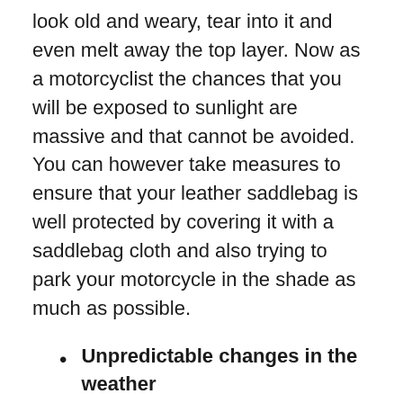look old and weary, tear into it and even melt away the top layer. Now as a motorcyclist the chances that you will be exposed to sunlight are massive and that cannot be avoided. You can however take measures to ensure that your leather saddlebag is well protected by covering it with a saddlebag cloth and also trying to park your motorcycle in the shade as much as possible.
Unpredictable changes in the weather
Exposing leather saddlebags to unpredictable and extreme weathers will also quicken the process of ruining your leather saddlebag very quickly. So for